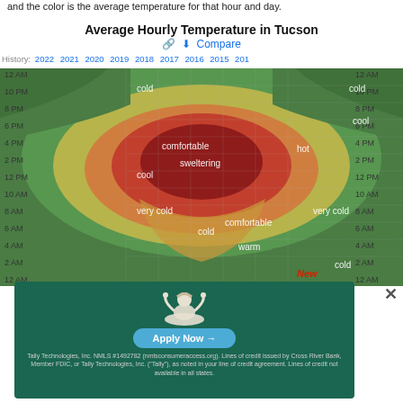and the color is the average temperature for that hour and day.
Average Hourly Temperature in Tucson
History: 2022 2021 2020 2019 2018 2017 2016 2015 201…
[Figure (continuous-plot): Heatmap showing average hourly temperature in Tucson by time of day (y-axis: 12 AM to 12 AM) and time of year (x-axis). Color bands indicate temperature zones labeled: very cold, cold, comfortable, warm, hot, sweltering. Center region (summer afternoons) is dark red/sweltering, edges (winter nights) are green/cold.]
[Figure (screenshot): Advertisement for Tally Technologies showing a meditating figure, 'Apply Now' button, and fine print about NMLS #1492782 and Cross River Bank.]